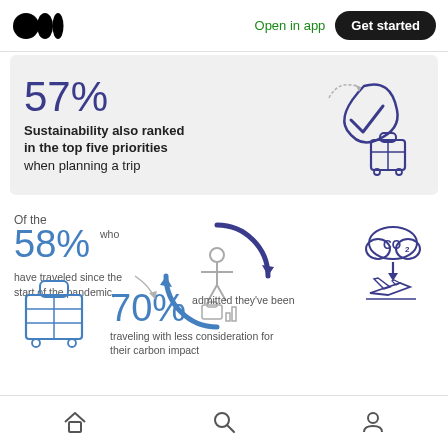Open in app | Get started
[Figure (infographic): 57% stat card: Sustainability also ranked in the top five priorities when planning a trip, with leaf/checkmark and luggage icon]
[Figure (infographic): Of the 58% who have traveled since the start of the pandemic, 70% admitted they've been traveling with less consideration for their carbon impact. Icons: circular arrow with traveler, CO2 cloud with airplane, luggage.]
Navigation bar with home, search, and profile icons